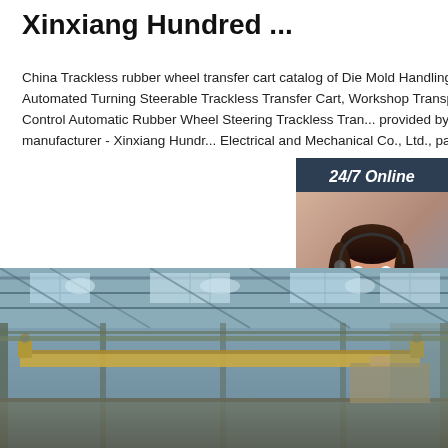Xinxiang Hundred ...
China Trackless rubber wheel transfer cart catalog of Die Mold Handling Multidirectional Automated Turning Steerable Trackless Transfer Cart, Workshop Transport Remote Control Automatic Rubber Wheel Steering Trackless Tran... provided by China manufacturer - Xinxiang Hundr... Electrical and Mechanical Co., Ltd., page1.
[Figure (photo): Customer service representative wearing headset, smiling, with '24/7 Online' header and 'Click here for free chat! QUOTATION' button overlay on dark blue background]
[Figure (photo): Interior of industrial factory/warehouse showing overhead crane, metal roof structure with skylights, and industrial equipment]
Get Price
24/7 Online
Click here for free chat !
QUOTATION